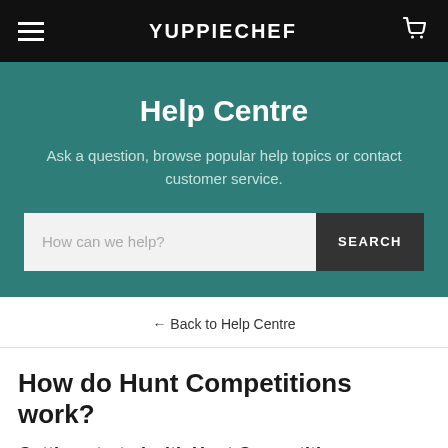YUPPIECHEF
Help Centre
Ask a question, browse popular help topics or contact customer service.
How can we help? SEARCH
← Back to Help Centre
How do Hunt Competitions work?
Getting started with Hunt Competitions